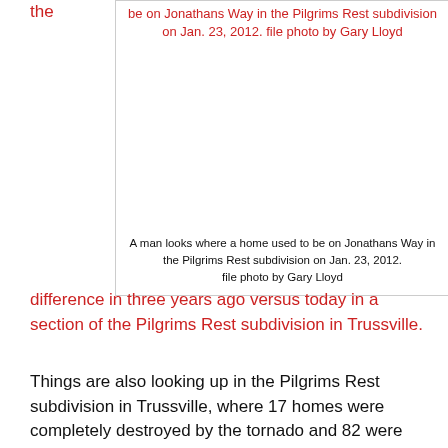the
be on Jonathans Way in the Pilgrims Rest subdivision on Jan. 23, 2012. file photo by Gary Lloyd
[Figure (photo): Photo placeholder area showing a man looks where a home used to be on Jonathans Way in the Pilgrims Rest subdivision]
A man looks where a home used to be on Jonathans Way in the Pilgrims Rest subdivision on Jan. 23, 2012. file photo by Gary Lloyd
difference in three years ago versus today in a section of the Pilgrims Rest subdivision in Trussville.
Things are also looking up in the Pilgrims Rest subdivision in Trussville, where 17 homes were completely destroyed by the tornado and 82 were affected. Homes are being rebuilt and many already have.